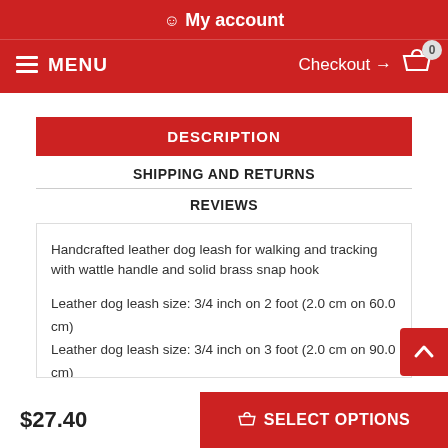My account
MENU  Checkout → 0
DESCRIPTION
SHIPPING AND RETURNS
REVIEWS
Handcrafted leather dog leash for walking and tracking with wattle handle and solid brass snap hook
Leather dog leash size: 3/4 inch on 2 foot (2.0 cm on 60.0 cm)
Leather dog leash size: 3/4 inch on 3 foot (2.0 cm on 90.0 cm)
Leather dog leash size: 3/4 inch on 4 foot (2.0 cm on 120.0 cm)
$27.40
SELECT OPTIONS